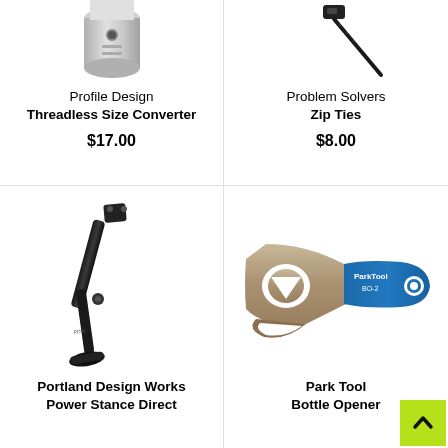[Figure (photo): Profile Design Threadless Size Converter product image (partial, top cut off)]
Profile Design
Threadless Size Converter
$17.00
[Figure (photo): Problem Solvers Zip Ties product image (partial, top cut off) — black zip tie]
Problem Solvers
Zip Ties
$8.00
[Figure (photo): Portland Design Works Power Stance Direct kickstand — black aluminum bicycle kickstand]
Portland Design Works
Power Stance Direct
[Figure (photo): Park Tool Bottle Opener BO-2 — metal and blue handle bottle opener]
Park Tool
Bottle Opener